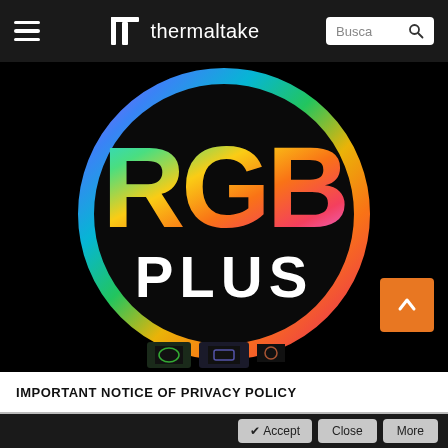thermaltake
[Figure (logo): Thermaltake RGB PLUS logo — large circular rainbow gradient ring on black background with 'RGB' text in rainbow gradient colors and 'PLUS' in white bold text below it. Orange scroll-up button in bottom right. Three small product thumbnail images at bottom.]
IMPORTANT NOTICE OF PRIVACY POLICY
✔ Accept   Close   More